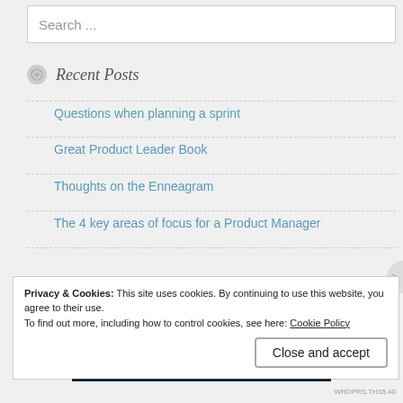Search ...
Recent Posts
Questions when planning a sprint
Great Product Leader Book
Thoughts on the Enneagram
The 4 key areas of focus for a Product Manager
Privacy & Cookies: This site uses cookies. By continuing to use this website, you agree to their use.
To find out more, including how to control cookies, see here: Cookie Policy
Close and accept
WRDPRS.TH35.40